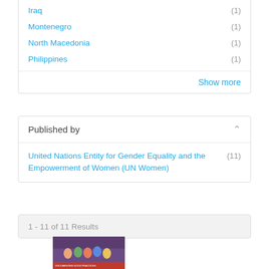Iraq (1)
Montenegro (1)
North Macedonia (1)
Philippines (1)
Show more
Published by
United Nations Entity for Gender Equality and the Empowerment of Women (UN Women) (11)
1 - 11 of 11 Results
[Figure (photo): Book cover thumbnail showing a group of women sitting together, with text about documenting good practices]